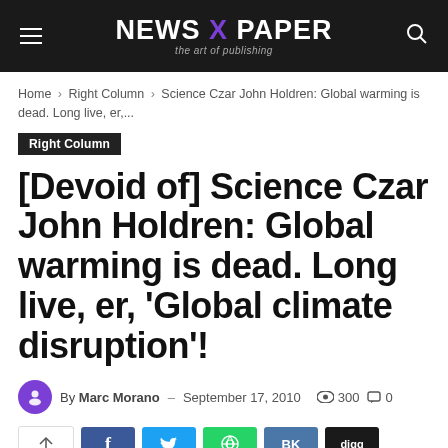NEWS X PAPER – the art of publishing
Home › Right Column › Science Czar John Holdren: Global warming is dead. Long live, er,...
Right Column
[Devoid of] Science Czar John Holdren: Global warming is dead. Long live, er, 'Global climate disruption'!
By Marc Morano – September 17, 2010 | 300 views | 0 comments